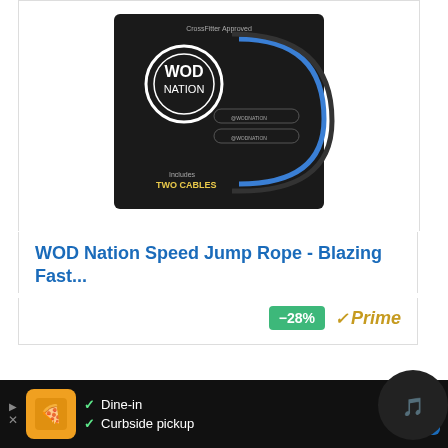[Figure (photo): WOD Nation Speed Jump Rope product photo showing two jump ropes (black and blue cables) with handles on a black packaging card. The packaging reads 'CrossFitter Approved', 'WOD NATION', and 'Includes TWO CABLES'.]
WOD Nation Speed Jump Rope - Blazing Fast...
-28%
Prime
Check Amazon Price
Dine-in
Curbside pickup